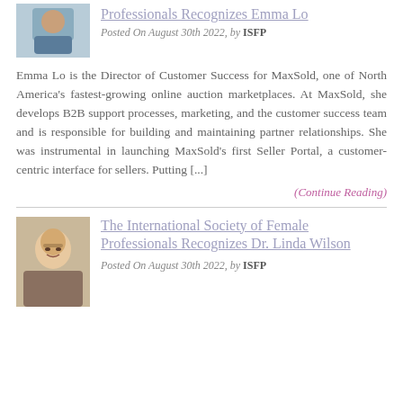[Figure (photo): Small profile photo at top, partially visible]
Professionals Recognizes Emma Lo
Posted On August 30th 2022, by ISFP
Emma Lo is the Director of Customer Success for MaxSold, one of North America's fastest-growing online auction marketplaces. At MaxSold, she develops B2B support processes, marketing, and the customer success team and is responsible for building and maintaining partner relationships. She was instrumental in launching MaxSold's first Seller Portal, a customer-centric interface for sellers. Putting [...]
(Continue Reading)
[Figure (photo): Profile photo of Dr. Linda Wilson, a woman with short blonde hair and glasses, smiling]
The International Society of Female Professionals Recognizes Dr. Linda Wilson
Posted On August 30th 2022, by ISFP